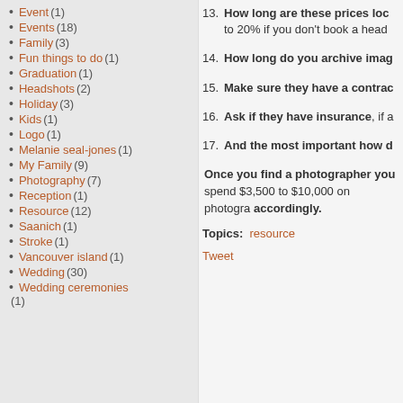Event (1)
Events (18)
Family (3)
Fun things to do (1)
Graduation (1)
Headshots (2)
Holiday (3)
Kids (1)
Logo (1)
Melanie seal-jones (1)
My Family (9)
Photography (7)
Reception (1)
Resource (12)
Saanich (1)
Stroke (1)
Vancouver island (1)
Wedding (30)
Wedding ceremonies (1)
13. How long are these prices lock... to 20% if you don't book a head...
14. How long do you archive imag...
15. Make sure they have a contrac...
16. Ask if they have insurance, if a...
17. And the most important how d...
Once you find a photographer you spend $3,500 to $10,000 on photogra... accordingly.
Topics: resource
Tweet